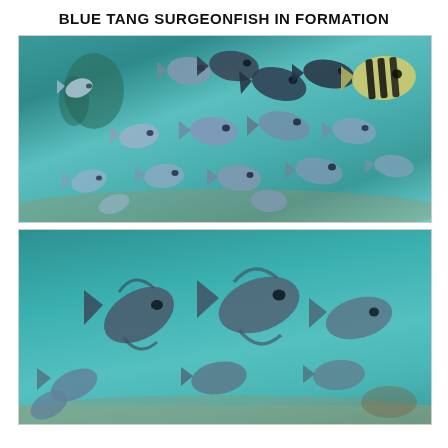BLUE TANG SURGEONFISH IN FORMATION
[Figure (photo): Underwater photo showing a school of blue tang surgeonfish swimming in formation above a sandy reef bottom, with a sergeant major fish (striped black and yellow) visible in the upper right corner.]
[Figure (photo): Underwater close-up photo showing several blue tang surgeonfish near the sandy ocean floor, swimming in loose formation.]